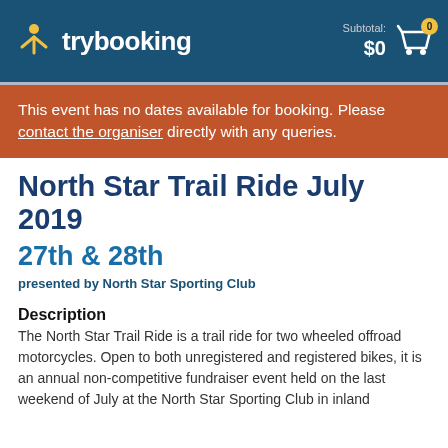trybooking — Subtotal: $0
This event has no dates available for booking. Please contact the organiser directly with any queries.
North Star Trail Ride July 2019
27th & 28th
presented by North Star Sporting Club
Description
The North Star Trail Ride is a trail ride for two wheeled offroad motorcycles. Open to both unregistered and registered bikes, it is an annual non-competitive fundraiser event held on the last weekend of July at the North Star Sporting Club in inland